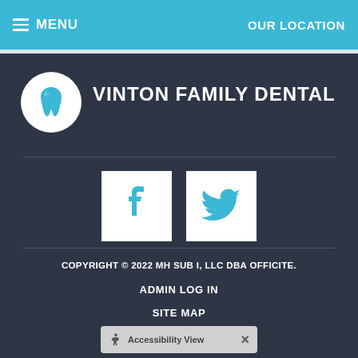MENU   OUR LOCATION
VINTON FAMILY DENTAL
[Figure (logo): Tooth icon in white circle on dark background]
[Figure (logo): Facebook social media icon square]
[Figure (logo): Twitter social media icon square]
COPYRIGHT © 2022 MH SUB I, LLC DBA OFFICITE.
ADMIN LOG IN
SITE MAP
Accessibility View